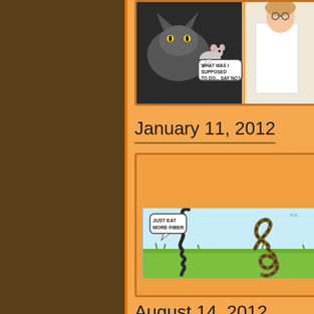[Figure (illustration): Partial comic strip visible at top showing a cat/rat scene with speech bubble 'WHAT WAS I SUPPOSED TO DO... SAY NO?']
January 11, 2012
[Figure (illustration): Comic strip showing two snakes on grass, one tall and straight, one in a knot shape, with speech bubble 'JUST EAT MORE FIBER.']
August 14, 2012